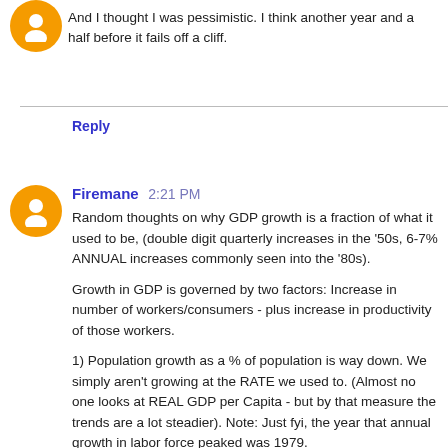And I thought I was pessimistic. I think another year and a half before it fails off a cliff.
Reply
Firemane 2:21 PM
Random thoughts on why GDP growth is a fraction of what it used to be, (double digit quarterly increases in the '50s, 6-7% ANNUAL increases commonly seen into the '80s).
Growth in GDP is governed by two factors: Increase in number of workers/consumers - plus increase in productivity of those workers.
1) Population growth as a % of population is way down. We simply aren't growing at the RATE we used to. (Almost no one looks at REAL GDP per Capita - but by that measure the trends are a lot steadier). Note: Just fyi, the year that annual growth in labor force peaked was 1979.